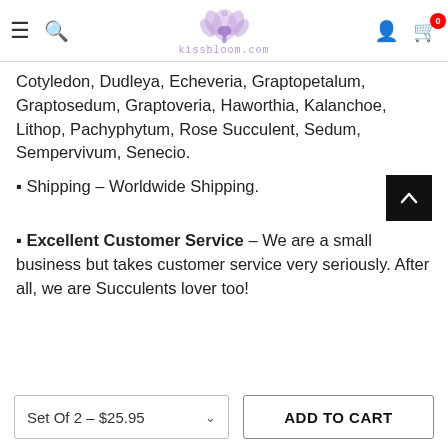kissbloom.com navigation header with hamburger menu, search icon, logo, user icon, and cart with 0 items
Cotyledon, Dudleya, Echeveria, Graptopetalum, Graptosedum, Graptoveria, Haworthia, Kalanchoe, Lithop, Pachyphytum, Rose Succulent, Sedum, Sempervivum, Senecio.
✦ Shipping – Worldwide Shipping.
✦ Excellent Customer Service – We are a small business but takes customer service very seriously. After all, we are Succulents lover too!
Set Of 2 – $25.95   ADD TO CART